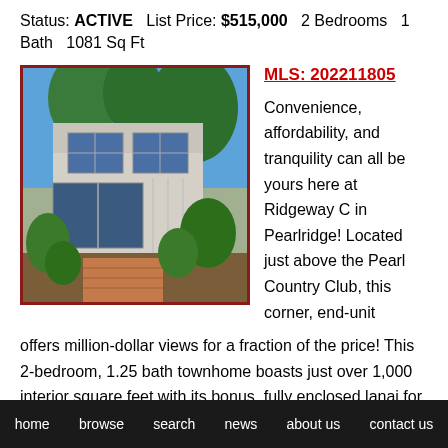Status: ACTIVE  List Price: $515,000  2 Bedrooms  1 Bath  1081 Sq Ft
[Figure (photo): Exterior photo of a two-story townhome with white siding and large windows, surrounded by tropical plants and trees, with a covered entryway and red brick walkway.]
MLS: 202211805
Convenience, affordability, and tranquility can all be yours here at Ridgeway C in Pearlridge! Located just above the Pearl Country Club, this corner, end-unit offers million-dollar views for a fraction of the price! This 2-bedroom, 1.25 bath townhome boasts just over 1,000 interior square feet with its bonus, fully enclosed lanai for additional living space! Not only that, but there's a second toilet conveniently located downstairs to save your guests that extra trip up the
home  browse  search  news  about us  contact us